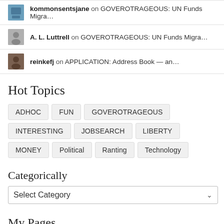kommonsentsjane on GOVEROTRAGEOUS: UN Funds Migra…
A. L. Luttrell on GOVEROTRAGEOUS: UN Funds Migra…
reinkefj on APPLICATION: Address Book — an…
Hot Topics
ADHOC
FUN
GOVEROTRAGEOUS
INTERESTING
JOBSEARCH
LIBERTY
MONEY
Political
Ranting
Technology
Categorically
Select Category
My Pages